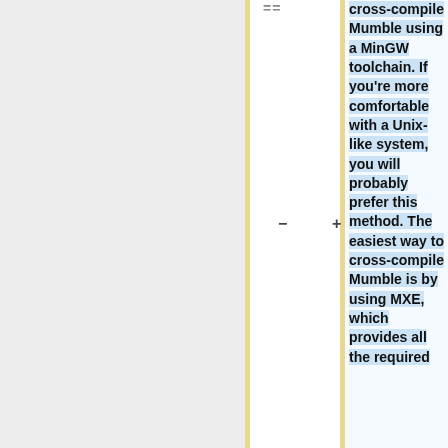[Figure (screenshot): A diff view / code comparison interface showing three columns: a left gray panel (empty), a center white column with a diff gutter containing '==' at top and '-' in the middle, and a right light-blue panel with bold text reading: 'cross-compile Mumble using a MinGW toolchain. If you're more comfortable with a Unix-like system, you will probably prefer this method. The easiest way to cross-compile Mumble is by using MXE, which provides all the required'. Plus (+) and minus (-) symbols appear between columns as diff markers.]